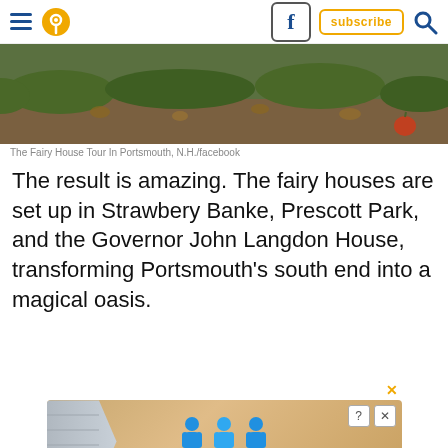Navigation bar with hamburger menu, location pin icon, Facebook icon, subscribe button, search icon
[Figure (photo): Outdoor ground-level photo showing grass and fallen leaves, the Fairy House Tour in Portsmouth, N.H.]
The Fairy House Tour In Portsmouth, N.H./facebook
The result is amazing. The fairy houses are set up in Strawbery Banke, Prescott Park, and the Governor John Langdon House, transforming Portsmouth's south end into a magical oasis.
[Figure (screenshot): Advertisement banner: Hold and Move app ad with two blue figures and close/info controls]